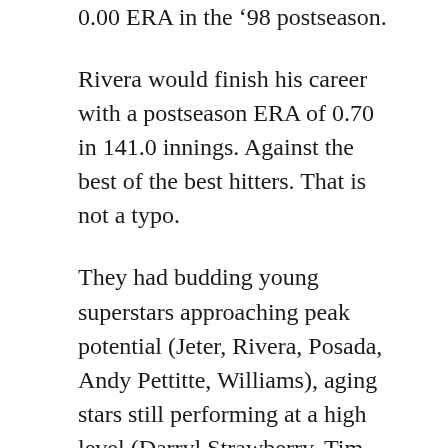0.00 ERA in the '98 postseason.
Rivera would finish his career with a postseason ERA of 0.70 in 141.0 innings. Against the best of the best hitters. That is not a typo.
They had budding young superstars approaching peak potential (Jeter, Rivera, Posada, Andy Pettitte, Williams), aging stars still performing at a high level (Darryl Strawberry, Tim Raines, Chili Davis, David Cone, Paul O'Neill), flash in the pan one-hit wonders that delivered in big moments down the stretch (Ricky Ledee, Shane Spencer), New York party animals delivering historic outings (David Wells), and a Cuban defector with a great nickname (El Duque) pitching the biggest